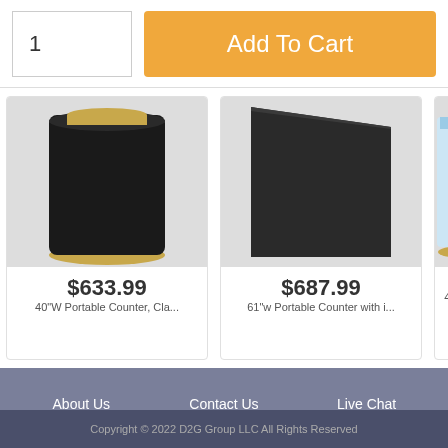1
Add To Cart
[Figure (photo): Product image: black cylindrical portable counter with gold base]
$633.99
40'W Portable Counter, Cla...
[Figure (photo): Product image: black wedge-shaped portable counter]
$687.99
61'w Portable Counter with i...
[Figure (photo): Product image: cylindrical canister, partially cropped]
$
41" Tall Po
About Us
Contact Us
Live Chat
Shipping Info
Returns
Track Order
[Figure (other): Payment icons: Visa, MasterCard, American Express, Discover]
Full Site
Privacy
Legal
Copyright © 2022 D2G Group LLC All Rights Reserved